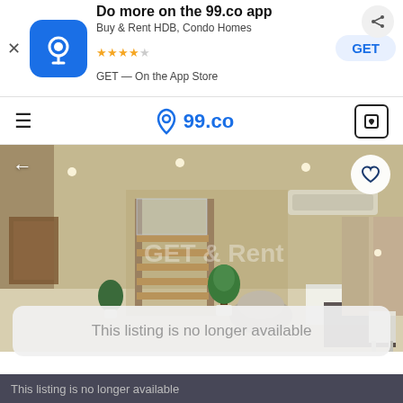[Figure (screenshot): App banner for 99.co app with icon, title, rating stars, GET button]
99.co — Buy & Rent HDB, Condo Homes — ★★★★☆ — GET — On the App Store
[Figure (screenshot): 99.co navigation bar with hamburger menu, 99.co logo, and bookmark icon]
[Figure (photo): Interior photo of a luxury home showing living room with staircase, plants, bean bag chair, dining area, and large windows with curtains. Has a back arrow on left and heart/favorite button on top right.]
This listing is no longer available
This listing is no longer available